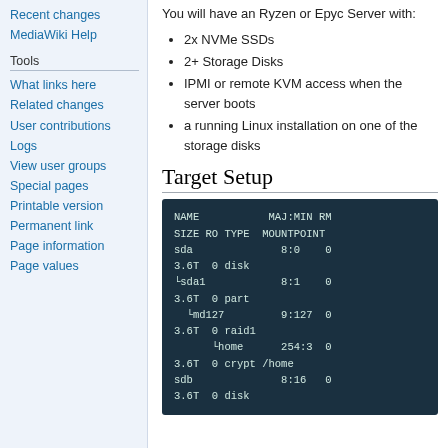Recent changes
MediaWiki Help
Tools
What links here
Related changes
User contributions
Logs
View user groups
Special pages
Printable version
Permanent link
Page information
Page values
You will have an Ryzen or Epyc Server with:
2x NVMe SSDs
2+ Storage Disks
IPMI or remote KVM access when the server boots
a running Linux installation on one of the storage disks
Target Setup
[Figure (screenshot): Terminal output showing lsblk disk layout with NAME, MAJ:MIN, RM, SIZE, RO, TYPE, MOUNTPOINT columns. Shows sda (8:0, 3.6T, disk), sda1 (8:1, 3.6T, part), md127 (9:127, 3.6T, raid1), home (254:3, 3.6T, crypt, /home), sdb (8:16, 3.6T, disk) and more rows cut off.]